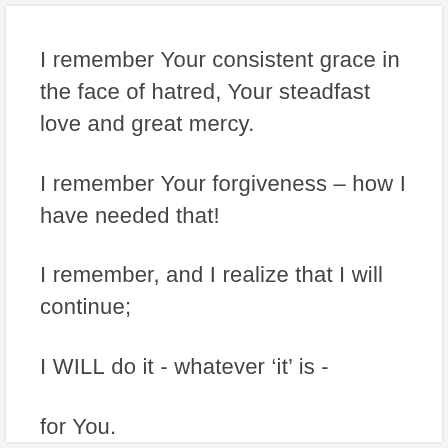I remember Your consistent grace in the face of hatred, Your steadfast love and great mercy.
I remember Your forgiveness – how I have needed that!
I remember, and I realize that I will continue;
I WILL do it - whatever 'it' is -
for You.